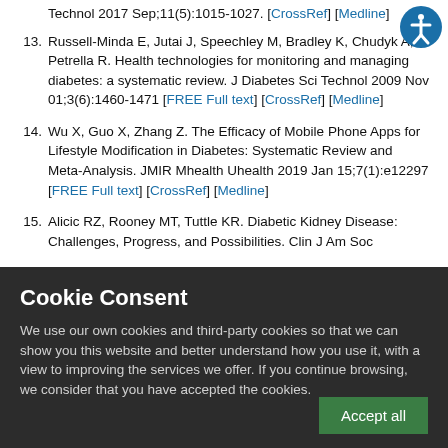Technol 2017 Sep;11(5):1015-1027. [CrossRef] [Medline]
13. Russell-Minda E, Jutai J, Speechley M, Bradley K, Chudyk A, Petrella R. Health technologies for monitoring and managing diabetes: a systematic review. J Diabetes Sci Technol 2009 Nov 01;3(6):1460-1471 [FREE Full text] [CrossRef] [Medline]
14. Wu X, Guo X, Zhang Z. The Efficacy of Mobile Phone Apps for Lifestyle Modification in Diabetes: Systematic Review and Meta-Analysis. JMIR Mhealth Uhealth 2019 Jan 15;7(1):e12297 [FREE Full text] [CrossRef] [Medline]
15. Alicic RZ, Rooney MT, Tuttle KR. Diabetic Kidney Disease: Challenges, Progress, and Possibilities. Clin J Am Soc
Cookie Consent
We use our own cookies and third-party cookies so that we can show you this website and better understand how you use it, with a view to improving the services we offer. If you continue browsing, we consider that you have accepted the cookies.